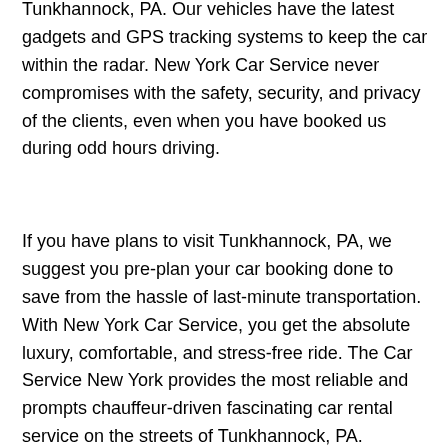Tunkhannock, PA. Our vehicles have the latest gadgets and GPS tracking systems to keep the car within the radar. New York Car Service never compromises with the safety, security, and privacy of the clients, even when you have booked us during odd hours driving.
If you have plans to visit Tunkhannock, PA, we suggest you pre-plan your car booking done to save from the hassle of last-minute transportation. With New York Car Service, you get the absolute luxury, comfortable, and stress-free ride. The Car Service New York provides the most reliable and prompts chauffeur-driven fascinating car rental service on the streets of Tunkhannock, PA.